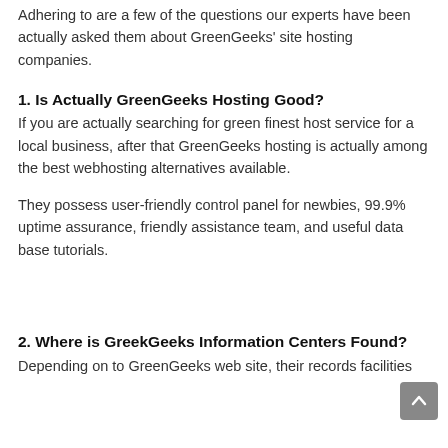Adhering to are a few of the questions our experts have been actually asked them about GreenGeeks' site hosting companies.
1. Is Actually GreenGeeks Hosting Good?
If you are actually searching for green finest host service for a local business, after that GreenGeeks hosting is actually among the best webhosting alternatives available.
They possess user-friendly control panel for newbies, 99.9% uptime assurance, friendly assistance team, and useful data base tutorials.
2. Where is GreekGeeks Information Centers Found?
Depending on to GreenGeeks web site, their records facilities